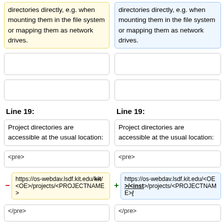directories directly, e.g. when mounting them in the file system or mapping them as network drives.
directories directly, e.g. when mounting them in the file system or mapping them as network drives.
Line 19:
Line 19:
Project directories are accessible at the usual location:
Project directories are accessible at the usual location:
<pre>
<pre>
https://os-webdav.lsdf.kit.edu/kit/<OE>/projects/<PROJECTNAME>
https://os-webdav.lsdf.kit.edu/<OE>/<inst>/projects/<PROJECTNAME>/
</pre>
</pre>
where